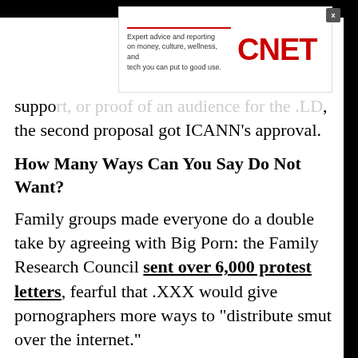[Figure (screenshot): CNET advertisement banner with red tagline bar, text 'Expert advice and reporting on money, culture, wellness, and tech you can put to good use.' and red CNET logo]
support, or proof of an audience for the .LD, the second proposal got ICANN's approval.
How Many Ways Can You Say Do Not Want?
Family groups made everyone do a double take by agreeing with Big Porn: the Family Research Council sent over 6,000 protest letters, fearful that .XXX would give pornographers more ways to "distribute smut over the internet."
The ACLU expressed concerns about making an easy-to-censor red light district for dubiously defined content, especially outside the U.S. where regulation around .XXX would certainly be enforced